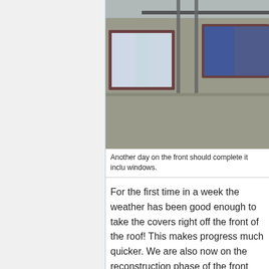[Figure (photo): Exterior photo of a house facade with pebbledash/roughcast render walls, dark-framed windows with curtains visible, and metal scaffolding poles in the foreground.]
Another day on the front should complete it inclu windows.
For the first time in a week the weather has been good enough to take the covers right off the front of the roof! This makes progress much quicker. We are also now on the reconstruction phase of the front roof. The whole lot has been felted and battened so should at last be water proof (so I can play fewer games of "find the leak and stick a bucket under